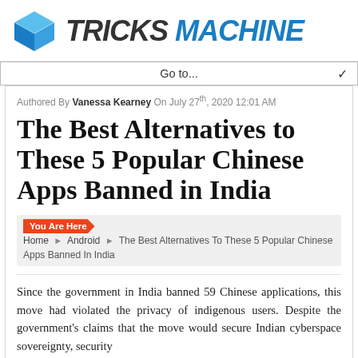[Figure (logo): TricksMachine logo with blue 3D cube icon and text TRICKS MACHINE in dark/blue italic bold font]
Go to...
Authored By Vanessa Kearney On July 27th, 2020 12:01 AM
The Best Alternatives to These 5 Popular Chinese Apps Banned in India
You Are Here  Home › Android › The Best Alternatives To These 5 Popular Chinese Apps Banned In India
Since the government in India banned 59 Chinese applications, this move had violated the privacy of indigenous users. Despite the government's claims that the move would secure Indian cyberspace sovereignty, security